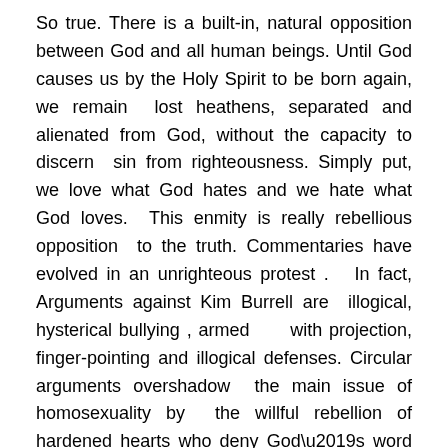So true. There is a built-in, natural opposition between God and all human beings. Until God causes us by the Holy Spirit to be born again, we remain lost heathens, separated and alienated from God, without the capacity to discern sin from righteousness. Simply put, we love what God hates and we hate what God loves. This enmity is really rebellious opposition to the truth. Commentaries have evolved in an unrighteous protest . In fact, Arguments against Kim Burrell are illogical, hysterical bullying , armed with projection, finger-pointing and illogical defenses. Circular arguments overshadow the main issue of homosexuality by the willful rebellion of hardened hearts who deny God’s word by labeling Kim and all non-supporters as “homophobic.”
Here is the truth that the Apostle Paul wrote on this matter in 1Corinthians 6:9